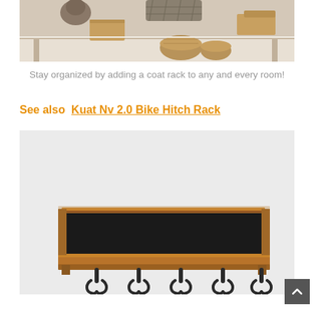[Figure (photo): Photo of a white rustic console table with wicker baskets and decorative items on top, showing a styled room scene.]
Stay organized by adding a coat rack to any and every room!
See also  Kuat Nv 2.0 Bike Hitch Rack
[Figure (photo): Photo of a wooden wall-mounted coat rack with a chalkboard panel and five double metal hooks at the bottom, shown against a white wall.]